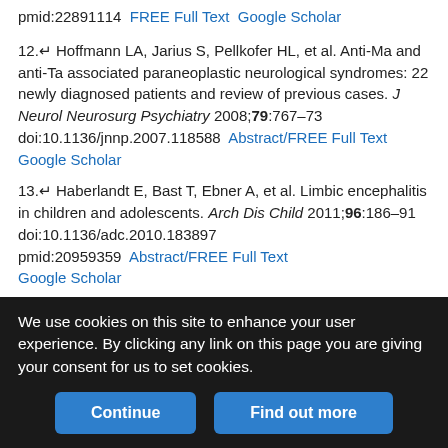pmid:22891114  FREE Full Text  Google Scholar
12. Hoffmann LA, Jarius S, Pellkofer HL, et al. Anti-Ma and anti-Ta associated paraneoplastic neurological syndromes: 22 newly diagnosed patients and review of previous cases. J Neurol Neurosurg Psychiatry 2008;79:767–73 doi:10.1136/jnnp.2007.118588  Abstract/FREE Full Text  Google Scholar
13. Haberlandt E, Bast T, Ebner A, et al. Limbic encephalitis in children and adolescents. Arch Dis Child 2011;96:186–91 doi:10.1136/adc.2010.183897 pmid:20959359  Abstract/FREE Full Text  Google Scholar
14. Iizuka T, Yoshii S, Kan S, et al. Reversible brain atrophy in anti-NMDA receptor encephalitis: a long-term observational study. J Neurol 2010;257:1686–91 doi:10.1007/s00415-010-5604-6 pmid:20517615  CrossRef  PubMed  Google Scholar
We use cookies on this site to enhance your user experience. By clicking any link on this page you are giving your consent for us to set cookies.